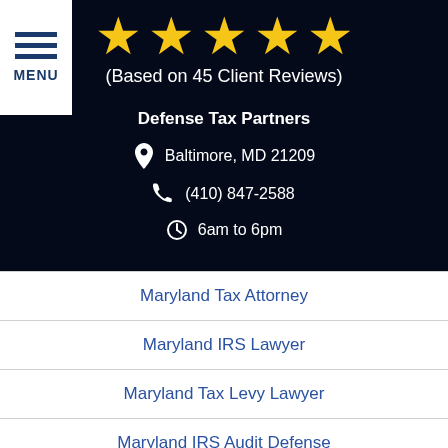[Figure (other): Hamburger menu icon with three horizontal blue lines and MENU label on white background]
[Figure (other): Five gold/yellow star rating icons]
(Based on 45 Client Reviews)
Defense Tax Partners
Baltimore, MD 21209
(410) 847-2588
6am to 6pm
Maryland Tax Attorney
Maryland IRS Lawyer
Maryland Tax Levy Lawyer
Maryland IRS Audit Defense
Maryland Tax Debt Attorney
Maryland IRS Tax Settlement
[Figure (other): Dark blue circular phone icon button]
[Figure (other): Dark blue circular email/envelope icon button]